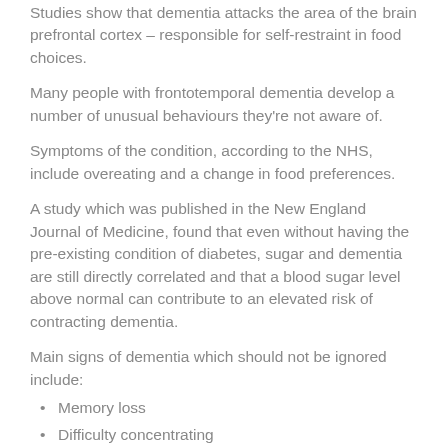Studies show that dementia attacks the area of the brain prefrontal cortex – responsible for self-restraint in food choices.
Many people with frontotemporal dementia develop a number of unusual behaviours they're not aware of.
Symptoms of the condition, according to the NHS, include overeating and a change in food preferences.
A study which was published in the New England Journal of Medicine, found that even without having the pre-existing condition of diabetes, sugar and dementia are still directly correlated and that a blood sugar level above normal can contribute to an elevated risk of contracting dementia.
Main signs of dementia which should not be ignored include:
Memory loss
Difficulty concentrating
Finding it hard to carry out familiar daily tasks, such as getting confused over the correct change when shopping
Struggling to follow a conversation or find the right word